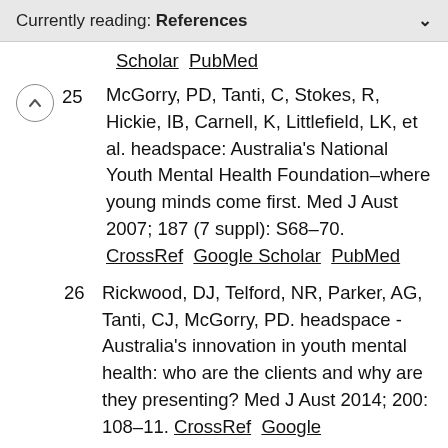Currently reading: References
Scholar  PubMed
25  McGorry, PD, Tanti, C, Stokes, R, Hickie, IB, Carnell, K, Littlefield, LK, et al. headspace: Australia's National Youth Mental Health Foundation–where young minds come first. Med J Aust 2007; 187 (7 suppl): S68–70. CrossRef  Google Scholar  PubMed
26  Rickwood, DJ, Telford, NR, Parker, AG, Tanti, CJ, McGorry, PD. headspace - Australia's innovation in youth mental health: who are the clients and why are they presenting? Med J Aust 2014; 200: 108–11. CrossRef  Google